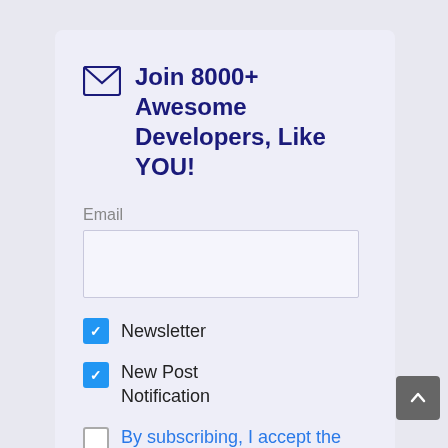Join 8000+ Awesome Developers, Like YOU!
Email
Newsletter
New Post Notification
By subscribing, I accept the privacy rules of this site.
Subscribe